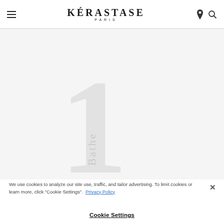KÉRASTASE PARIS
[Figure (illustration): Large decorative watermark showing the number '1' and rotated text 'Bathe' in light gray on a light background, product page imagery for Kérastase]
We use cookies to analyze our site use, traffic, and tailor advertising. To limit cookies or learn more, click "Cookie Settings". Privacy Policy
Cookie Settings